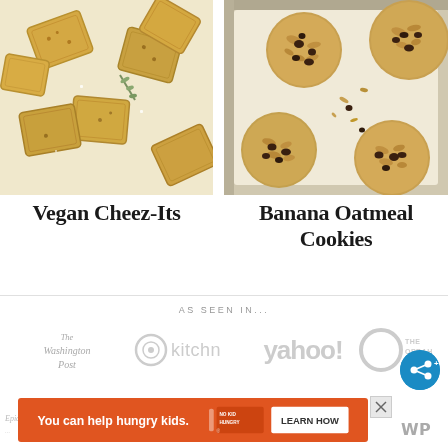[Figure (photo): Overhead view of vegan cheez-it crackers with herbs on white background]
[Figure (photo): Overhead view of banana oatmeal chocolate chip cookies on baking tray with parchment paper]
Vegan Cheez-Its
Banana Oatmeal Cookies
AS SEEN IN...
[Figure (logo): The Washington Post logo]
[Figure (logo): kitchn logo]
[Figure (logo): yahoo! logo]
[Figure (logo): O The Magazine logo (partial)]
[Figure (infographic): Advertisement banner: You can help hungry kids. No Kid Hungry. LEARN HOW]